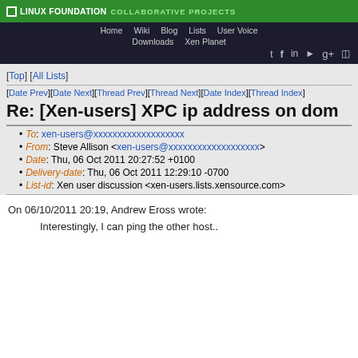LINUX FOUNDATION COLLABORATIVE PROJECTS
Home  Wiki  Blog  Lists  User Voice  Downloads  Xen Planet
[Top] [All Lists]
[Date Prev][Date Next][Thread Prev][Thread Next][Date Index][Thread Index]
Re: [Xen-users] XPC ip address on dom
To: xen-users@xxxxxxxxxxxxxxxxxxx
From: Steve Allison <xen-users@xxxxxxxxxxxxxxxxxxx>
Date: Thu, 06 Oct 2011 20:27:52 +0100
Delivery-date: Thu, 06 Oct 2011 12:29:10 -0700
List-id: Xen user discussion <xen-users.lists.xensource.com>
On 06/10/2011 20:19, Andrew Eross wrote:
Interestingly, I can ping the other host..